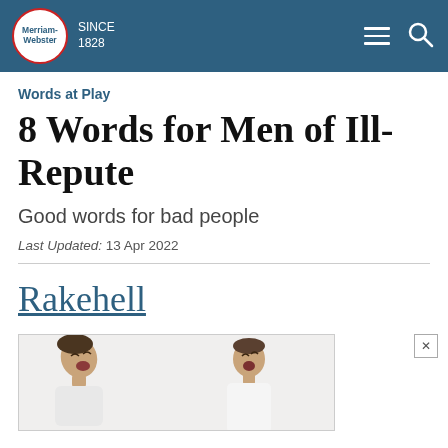Merriam-Webster SINCE 1828
Words at Play
8 Words for Men of Ill-Repute
Good words for bad people
Last Updated: 13 Apr 2022
Rakehell
[Figure (photo): Two laughing young men photographed against a white background, shown from roughly the waist up, partially cropped at bottom of page.]